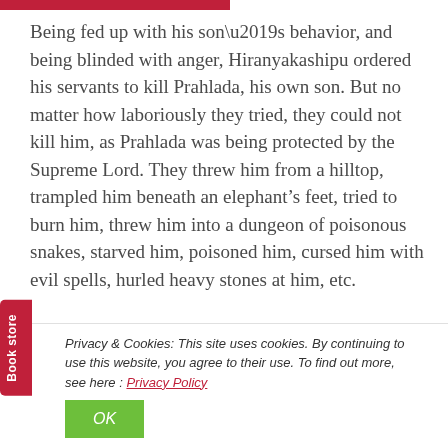Being fed up with his son’s behavior, and being blinded with anger, Hiranyakashipu ordered his servants to kill Prahlada, his own son. But no matter how laboriously they tried, they could not kill him, as Prahlada was being protected by the Supreme Lord. They threw him from a hilltop, trampled him beneath an elephant’s feet, tried to burn him, threw him into a dungeon of poisonous snakes, starved him, poisoned him, cursed him with evil spells, hurled heavy stones at him, etc.
Privacy & Cookies: This site uses cookies. By continuing to use this website, you agree to their use. To find out more, see here : Privacy Policy